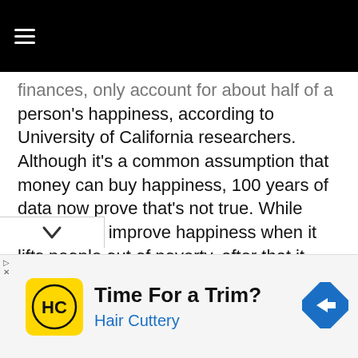≡
finances, only account for about half of a person's happiness, according to University of California researchers. Although it's a common assumption that money can buy happiness, 100 years of data now prove that's not true. While money can improve happiness when it lifts people out of poverty, after that it doesn't make much of difference on their emotional well-being, research shows.
Likewise, Russell writes about main causes of
[Figure (other): Advertisement banner for Hair Cuttery. Contains the Hair Cuttery logo (HC in a circle on yellow background), the text 'Time For a Trim?' in bold, 'Hair Cuttery' in blue, and a blue navigation/directions diamond icon on the right.]